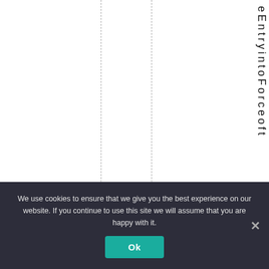[Figure (other): White page area with two vertical dashed lines dividing it into columns, and rotated vertical text reading 'eEntryintoForceoft' along the right side.]
We use cookies to ensure that we give you the best experience on our website. If you continue to use this site we will assume that you are happy with it.